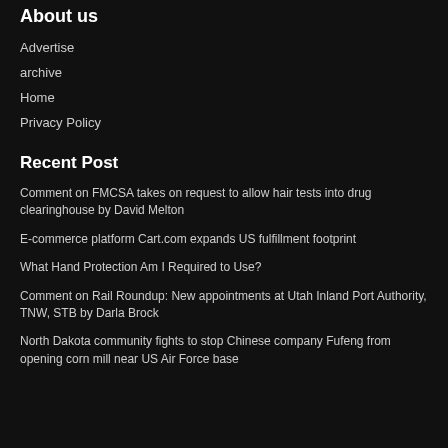About us
Advertise
archive
Home
Privacy Policy
Recent Post
Comment on FMCSA takes on request to allow hair tests into drug clearinghouse by David Melton
E-commerce platform Cart.com expands US fulfillment footprint
What Hand Protection Am I Required to Use?
Comment on Rail Roundup: New appointments at Utah Inland Port Authority, TNW, STB by Darla Brock
North Dakota community fights to stop Chinese company Fufeng from opening corn mill near US Air Force base